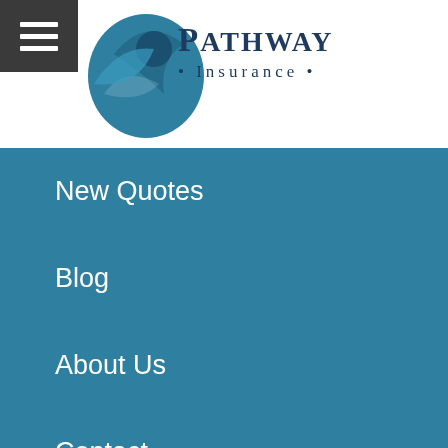[Figure (logo): Pathway Insurance logo with circular bird/flame graphic and dark blue text reading 'PATHWAY Insurance']
New Quotes
Blog
About Us
Contact
Ohio Group Health Insurance (partially visible)
Ohio Individual Health Insurance
Ohio Landlord Insurance
Ohio Life Insurance
Ohio Motorcycle Insurance